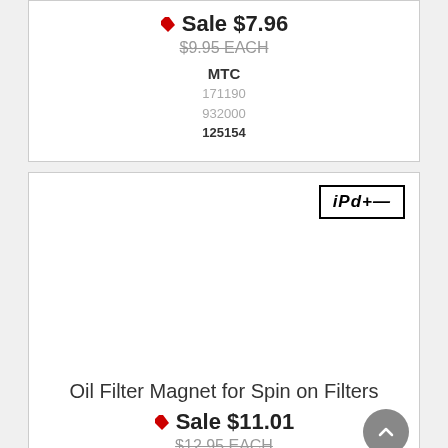Sale $7.96
$9.95 EACH
MTC
171190
932000
125154
[Figure (logo): iPd+ brand logo in italic bold text inside a rectangular border]
Oil Filter Magnet for Spin on Filters
Sale $11.01
$12.95 EACH